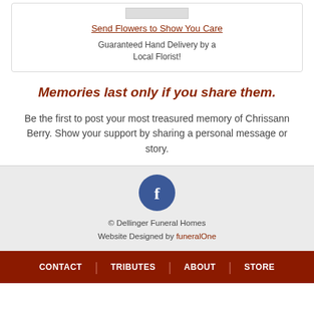[Figure (other): Flower image placeholder box at top of card]
Send Flowers to Show You Care
Guaranteed Hand Delivery by a Local Florist!
Memories last only if you share them.
Be the first to post your most treasured memory of Chrissann Berry. Show your support by sharing a personal message or story.
[Figure (logo): Facebook icon — blue circle with white 'f']
© Dellinger Funeral Homes
Website Designed by funeralOne
CONTACT | TRIBUTES | ABOUT | STORE